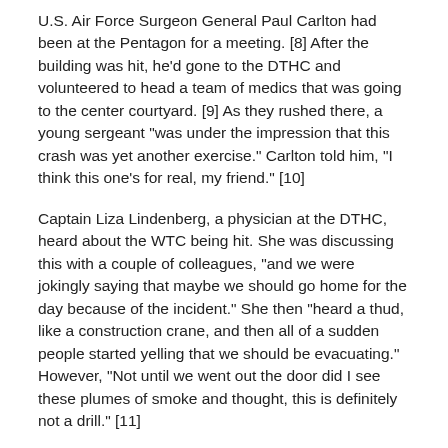U.S. Air Force Surgeon General Paul Carlton had been at the Pentagon for a meeting. [8] After the building was hit, he'd gone to the DTHC and volunteered to head a team of medics that was going to the center courtyard. [9] As they rushed there, a young sergeant "was under the impression that this crash was yet another exercise." Carlton told him, "I think this one's for real, my friend." [10]
Captain Liza Lindenberg, a physician at the DTHC, heard about the WTC being hit. She was discussing this with a couple of colleagues, "and we were jokingly saying that maybe we should go home for the day because of the incident." She then "heard a thud, like a construction crane, and then all of a sudden people started yelling that we should be evacuating." However, "Not until we went out the door did I see these plumes of smoke and thought, this is definitely not a drill." [11]
Major Bridget Larew had been told two planes had hit the WTC. She realized, "That wasn't a coincidence; that is terrorism." After the man ran through the clinic, yelling at everyone to evacuate, she saw "people streaming by the glass doors as they were exiting the building." She said aloud, "I don't think this is an exercise." After she was given adminitration she "got to about t